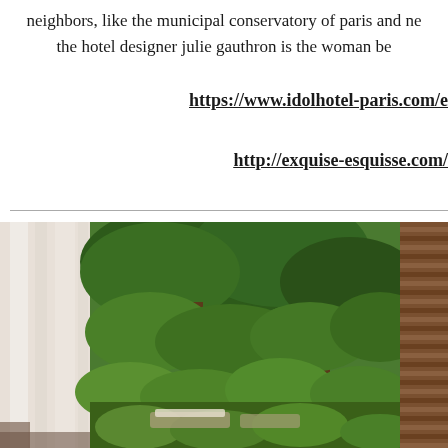neighbors, like the municipal conservatory of paris and ne... the hotel designer julie gauthron is the woman be...
https://www.idolhotel-paris.com/e
http://exquise-esquisse.com/
[Figure (photo): Outdoor hotel terrace or garden area with lush tropical greenery, large trees, ferns, white curtains on the left, and wooden slatted wall on the right. Lounge seating visible in the background.]